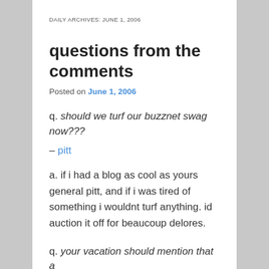DAILY ARCHIVES: JUNE 1, 2006
questions from the comments
Posted on June 1, 2006
q. should we turf our buzznet swag now???
– pitt
a. if i had a blog as cool as yours general pitt, and if i was tired of something i wouldnt turf anything. id auction it off for beaucoup delores.
q. your vacation should mention that a